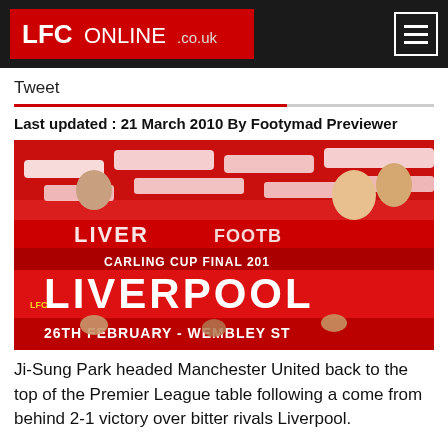LFCONLINE.co.uk
Tweet
Last updated : 21 March 2010 By Footymad Previewer
[Figure (photo): Liverpool FC fans holding red and white LIVERPOOL scarves at the Carling Cup Final 2012, 26th February - Wembley Stadium]
Ji-Sung Park headed Manchester United back to the top of the Premier League table following a come from behind 2-1 victory over bitter rivals Liverpool.